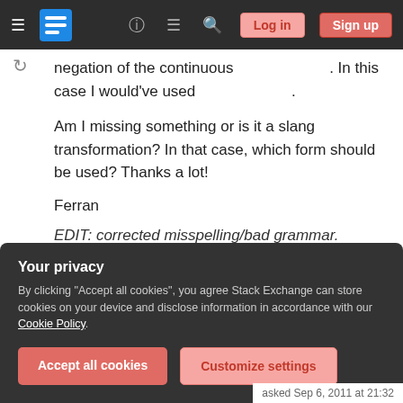Stack Exchange navigation bar with Log in and Sign up buttons
negation of the continuous 学んでいる。 In this case I would've used 学んでない。
Am I missing something or is it a slang transformation? In that case, which form should be used? Thanks a lot!
Ferran
EDIT: corrected misspelling/bad grammar. Tremendous lapsus :(
Your privacy
By clicking "Accept all cookies", you agree Stack Exchange can store cookies on your device and disclose information in accordance with our Cookie Policy.
Accept all cookies  Customize settings
asked Sep 6, 2011 at 21:32